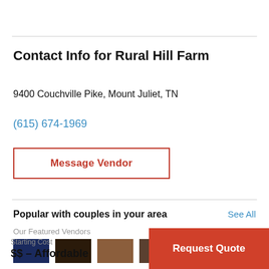Contact Info for Rural Hill Farm
9400 Couchville Pike, Mount Juliet, TN
(615) 674-1969
Message Vendor
Popular with couples in your area
See All
Our Featured Vendors
Starting Cost
$$ – Affordable
Request Quote